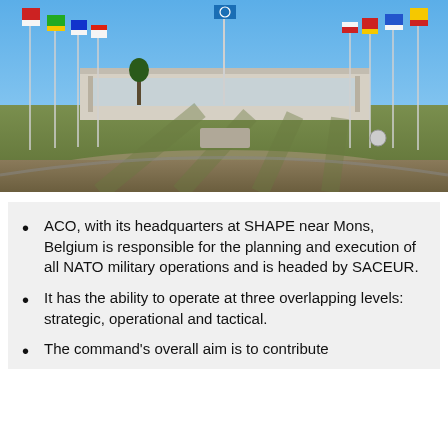[Figure (photo): Photograph of SHAPE headquarters near Mons, Belgium, showing a large government building in the background with rows of national flags on tall flagpoles lining a wide open lawn area under a clear blue sky.]
ACO, with its headquarters at SHAPE near Mons, Belgium is responsible for the planning and execution of all NATO military operations and is headed by SACEUR.
It has the ability to operate at three overlapping levels: strategic, operational and tactical.
The command's overall aim is to contribute to Allied defence and operations.